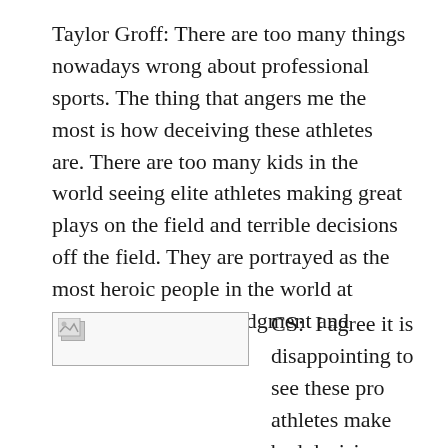Taylor Groff: There are too many things nowadays wrong about professional sports. The thing that angers me the most is how deceiving these athletes are. There are too many kids in the world seeing elite athletes making great plays on the field and terrible decisions off the field. They are portrayed as the most heroic people in the world at times, but have bad judgment and disappoint many.
[Figure (other): Broken/placeholder image icon]
CS:  I agree it is disappointing to see these pro athletes make bad decisions,